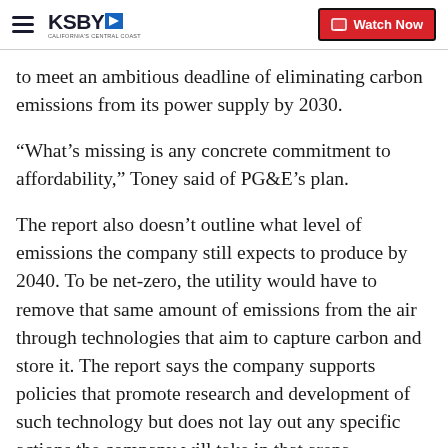KSBY - California's Central Coast | Watch Now
to meet an ambitious deadline of eliminating carbon emissions from its power supply by 2030.
“What’s missing is any concrete commitment to affordability,” Toney said of PG&E’s plan.
The report also doesn’t outline what level of emissions the company still expects to produce by 2040. To be net-zero, the utility would have to remove that same amount of emissions from the air through technologies that aim to capture carbon and store it. The report says the company supports policies that promote research and development of such technology but does not lay out any specific actions the company will take in that arena.